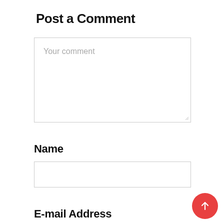Post a Comment
Your comment
Name
E-mail Address
[Figure (other): Red circular floating action button with upward arrow icon in bottom-right corner]